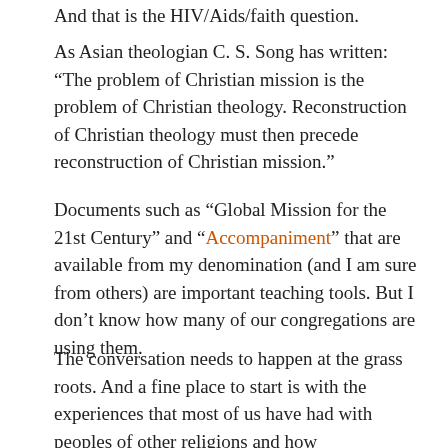And that is the HIV/Aids/faith question.
As Asian theologian C. S. Song has written: “The problem of Christian mission is the problem of Christian theology. Reconstruction of Christian theology must then precede reconstruction of Christian mission.”
Documents such as “Global Mission for the 21st Century” and “Accompaniment” that are available from my denomination (and I am sure from others) are important teaching tools. But I don’t know how many of our congregations are using them.
The conversation needs to happen at the grass roots. And a fine place to start is with the experiences that most of us have had with peoples of other religions and how